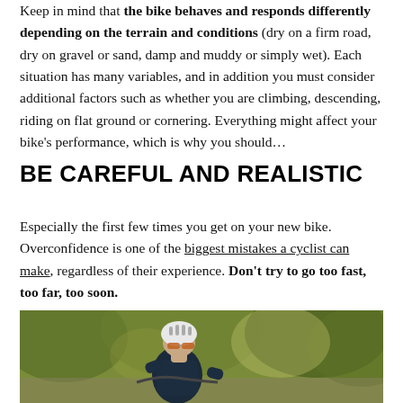Keep in mind that the bike behaves and responds differently depending on the terrain and conditions (dry on a firm road, dry on gravel or sand, damp and muddy or simply wet). Each situation has many variables, and in addition you must consider additional factors such as whether you are climbing, descending, riding on flat ground or cornering. Everything might affect your bike's performance, which is why you should…
BE CAREFUL AND REALISTIC
Especially the first few times you get on your new bike. Overconfidence is one of the biggest mistakes a cyclist can make, regardless of their experience. Don't try to go too fast, too far, too soon.
[Figure (photo): A cyclist wearing a white helmet and sunglasses, riding through a green wooded area. The rider is dressed in dark cycling gear and is photographed from a low angle.]